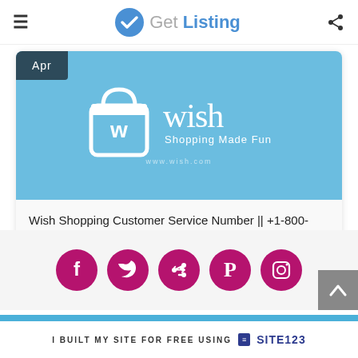GetListing
[Figure (screenshot): Wish Shopping app logo on light blue background with text 'wish Shopping Made Fun' and www.wish.com watermark. Apr badge in top left corner.]
Wish Shopping Customer Service Number || +1-800-266-0172 || GetListing
[Figure (infographic): Social media icons row: Facebook, Twitter, Share/Retweet, Pinterest, Instagram - all in dark pink/magenta circles. Scroll-to-top button on right.]
I BUILT MY SITE FOR FREE USING SITE123